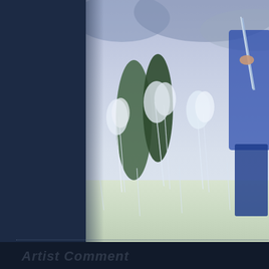[Figure (illustration): Anime-style illustration showing a character holding a sword/weapon in a field of white flowering grass/plants with a blue-purple sky background. The image is partially cropped, showing the right portion of the scene. Visual Novel artwork for Hakuouki Shinsengumi Kitan.]
Yone Kazuki Mangaka   Idea Factory Studio   Hakuouki Shinsengumi Kitan Series,Visual Novel
1600×1200 Wallpa...
This site uses cookies. By continuing to browse the site you are agreeing to our use of cookies. Read more.
Artist Comment